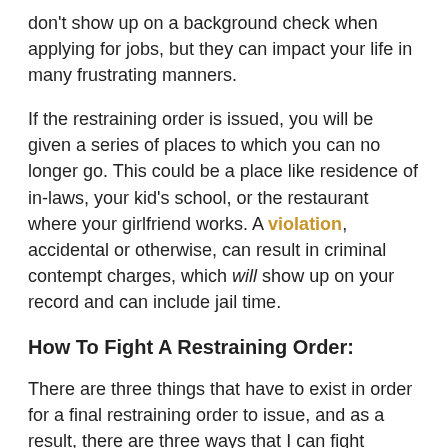don't show up on a background check when applying for jobs, but they can impact your life in many frustrating manners.
If the restraining order is issued, you will be given a series of places to which you can no longer go. This could be a place like residence of in-laws, your kid's school, or the restaurant where your girlfriend works. A violation, accidental or otherwise, can result in criminal contempt charges, which will show up on your record and can include jail time.
How To Fight A Restraining Order:
There are three things that have to exist in order for a final restraining order to issue, and as a result, there are three ways that I can fight against restraining orders. If I can cast doubt on any of the three requirements for a restraining order, it will not be issued.